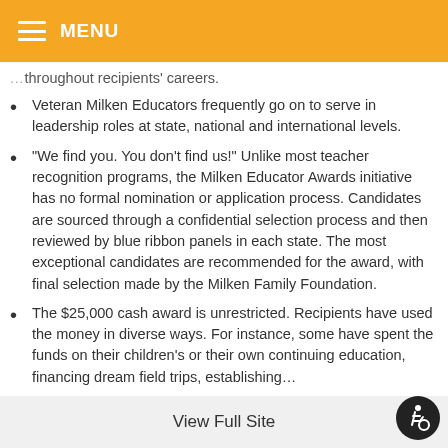MENU
throughout recipients' careers.
Veteran Milken Educators frequently go on to serve in leadership roles at state, national and international levels.
“We find you. You don’t find us!” Unlike most teacher recognition programs, the Milken Educator Awards initiative has no formal nomination or application process. Candidates are sourced through a confidential selection process and then reviewed by blue ribbon panels in each state. The most exceptional candidates are recommended for the award, with final selection made by the Milken Family Foundation.
The $25,000 cash award is unrestricted. Recipients have used the money in diverse ways. For instance, some have spent the funds on their children’s or their own continuing education, financing dream field trips, establishing…
View Full Site